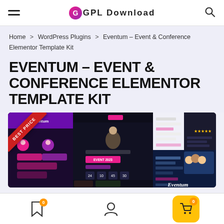GPL Download
Home > WordPress Plugins > Eventum – Event & Conference Elementor Template Kit
EVENTUM – EVENT & CONFERENCE ELEMENTOR TEMPLATE KIT
[Figure (screenshot): Product screenshot showing Eventum – Event & Conference Elementor Template Kit with a 'Best Price' ribbon banner. Multiple page layout previews are shown including a dark-themed event page, a light layout with speaker sections, and a conference page with an 'Eventum' logo.]
0 bookmarks | user account | 0 cart items